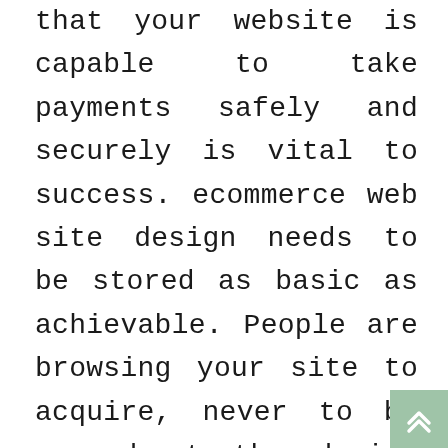that your website is capable to take payments safely and securely is vital to success. ecommerce web site design needs to be stored as basic as achievable. People are browsing your site to acquire, never to be amazed at the design abilities. Use very clear product descriptions and photos. Common typefaces which can be easy in the eyes are the best. Maintaining the web site as lower essential as you possibly can is nice. Be sure your prices are precise. A customer who discovers improper